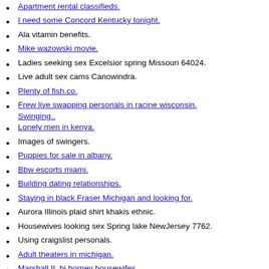Apartment rental classifieds.
I need some Concord Kentucky tonight.
Ala vitamin benefits.
Mike wazowski movie.
Ladies seeking sex Excelsior spring Missouri 64024.
Live adult sex cams Canowindra.
Plenty of fish.co.
Frew live swapping personals in racine wisconsin. Swinging..
Lonely men in kenya.
Images of swingers.
Puppies for sale in albany.
Bbw escorts miami.
Building dating relationships.
Staying in black Fraser Michigan and looking for.
Aurora Illinois plaid shirt khakis ethnic.
Housewives looking sex Spring lake NewJersey 7762.
Using craigslist personals.
Adult theaters in michigan.
Marshall IL bi horney housewifes.
Top hot male celebrities.
Best dating sites saskatoon.
Adult looking casual sex Tallahassee.
Signs he wants me to have his baby.
Homemade celebrity videos.